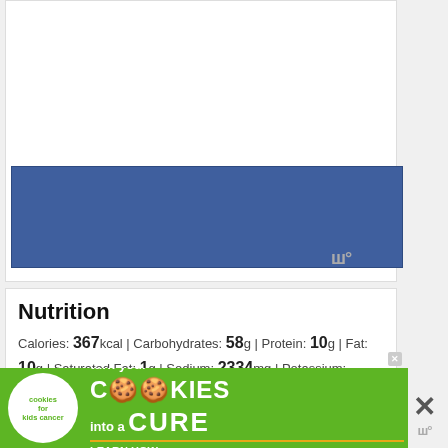[Figure (other): Blue banner/header image placeholder within a white card area with a watermark symbol]
Nutrition
Calories: 367kcal | Carbohydrates: 58g | Protein: 10g | Fat: 10g | Saturated Fat: 1g | Sodium: 2334mg | Potassium: 195mg | Fiber: 2g | Sugar: 2g | Vitamin A: 220IU | Vitamin C: 4.5mg | Calcium: 26mg | Iron:
[Figure (infographic): Advertisement banner: cookies for kids cancer - turn your cookies into a cure, learn how]